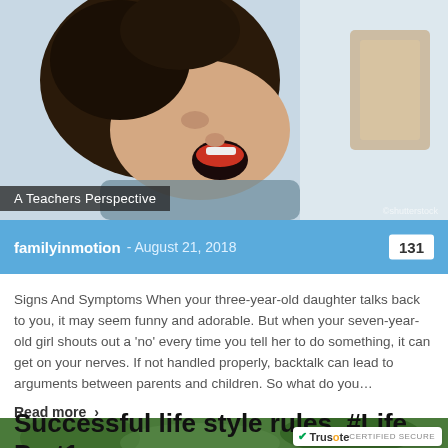[Figure (photo): Child or teenager with mouth open, laughing or yelling, shot from below against a light background]
A Teachers Perspective
familyinmotion  -  August 21, 2018   131
Signs And Symptoms When your three-year-old daughter talks back to you, it may seem funny and adorable. But when your seven-year-old girl shouts out a ‘no’ every time you tell her to do something, it can get on your nerves. If not handled properly, backtalk can lead to arguments between parents and children. So what do you…
Read more  ›
Successful life style rules. #Life Part1
[Figure (photo): Partial view of outdoor nature/forest scene at bottom of page]